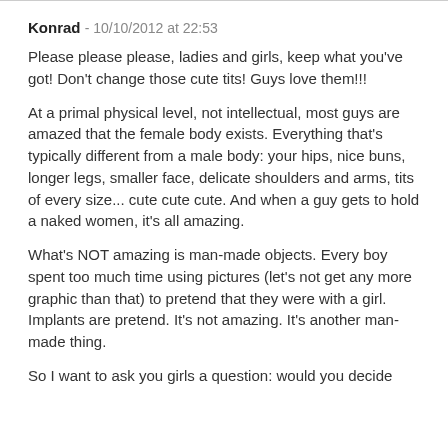Konrad - 10/10/2012 at 22:53
Please please please, ladies and girls, keep what you've got! Don't change those cute tits! Guys love them!!!
At a primal physical level, not intellectual, most guys are amazed that the female body exists. Everything that's typically different from a male body: your hips, nice buns, longer legs, smaller face, delicate shoulders and arms, tits of every size... cute cute cute. And when a guy gets to hold a naked women, it's all amazing.
What's NOT amazing is man-made objects. Every boy spent too much time using pictures (let's not get any more graphic than that) to pretend that they were with a girl. Implants are pretend. It's not amazing. It's another man-made thing.
So I want to ask you girls a question: would you decide what to wear with the same confidence from a physical attribute? If...